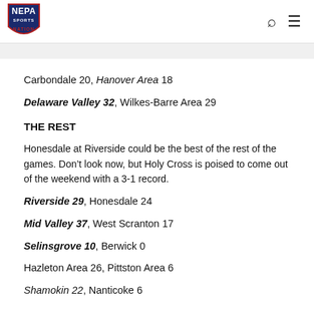NEPA Sports Nation
Carbondale 20, Hanover Area 18
Delaware Valley 32, Wilkes-Barre Area 29
THE REST
Honesdale at Riverside could be the best of the rest of the games. Don’t look now, but Holy Cross is poised to come out of the weekend with a 3-1 record.
Riverside 29, Honesdale 24
Mid Valley 37, West Scranton 17
Selinsgrove 10, Berwick 0
Hazleton Area 26, Pittston Area 6
Shamokin 22, Nanticoke 6